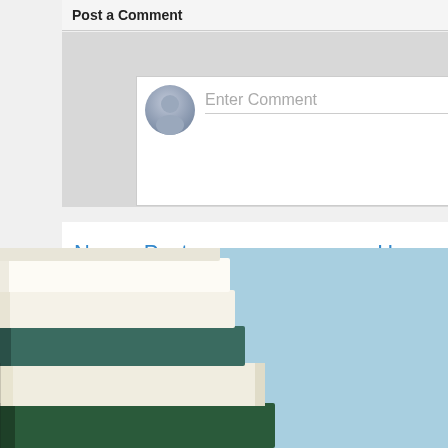Post a Comment
[Figure (screenshot): Comment input field with avatar icon and 'Enter Comment' placeholder text]
Newer Post
Home
Subscribe to: Post Comments (Atom)
[Figure (photo): Stack of books against a light blue background, bottom half of page]